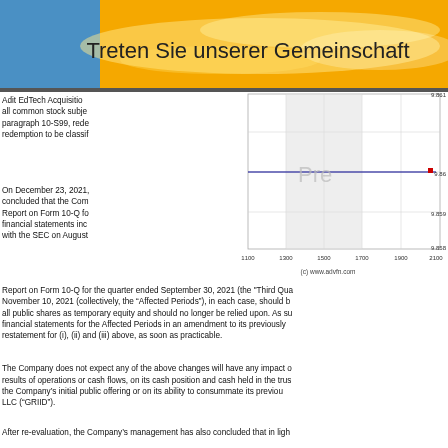Treten Sie unserer Gemeinschaft bei
Adit EdTech Acquisition all common stock subje paragraph 10-S99, rede redemption to be classif
[Figure (continuous-plot): Line chart showing stock price around 9.858-9.861 range with x-axis from 1100 to 2100+, with a nearly flat blue line and a small red marker near 9.86 at x~2100. Shaded region between approximately x=1300 and x=1700. Caption: (c) www.advfn.com]
On December 23, 2021, concluded that the Company Report on Form 10-Q fo financial statements inc with the SEC on August Report on Form 10-Q for the quarter ended September 30, 2021 (the "Third Quarter") November 10, 2021 (collectively, the “Affected Periods”), in each case, should b all public shares as temporary equity and should no longer be relied upon. As su financial statements for the Affected Periods in an amendment to its previously restatement for (i), (ii) and (iii) above, as soon as practicable.
The Company does not expect any of the above changes will have any impact o results of operations or cash flows, on its cash position and cash held in the trus the Company’s initial public offering or on its ability to consummate its previou LLC (“GRIID”).
After re-evaluation, the Company’s management has also concluded that in ligh